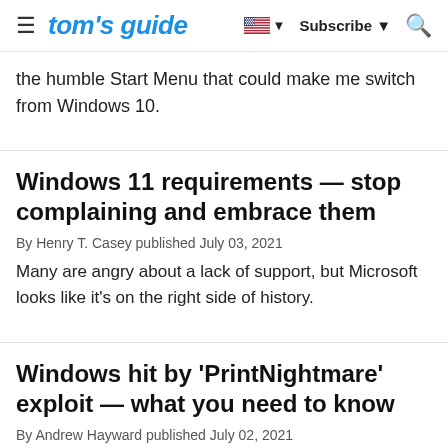tom's guide | Subscribe | Search
the humble Start Menu that could make me switch from Windows 10.
Windows 11 requirements — stop complaining and embrace them
By Henry T. Casey published July 03, 2021
Many are angry about a lack of support, but Microsoft looks like it's on the right side of history.
Windows hit by 'PrintNightmare' exploit — what you need to know
By Andrew Hayward published July 02, 2021